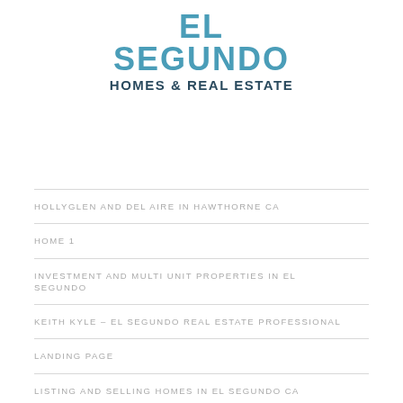EL SEGUNDO HOMES & REAL ESTATE
HOLLYGLEN AND DEL AIRE IN HAWTHORNE CA
HOME 1
INVESTMENT AND MULTI UNIT PROPERTIES IN EL SEGUNDO
KEITH KYLE – EL SEGUNDO REAL ESTATE PROFESSIONAL
LANDING PAGE
LISTING AND SELLING HOMES IN EL SEGUNDO CA
INSTANT SOUTH BAY HOME VALUE ESTIMATE